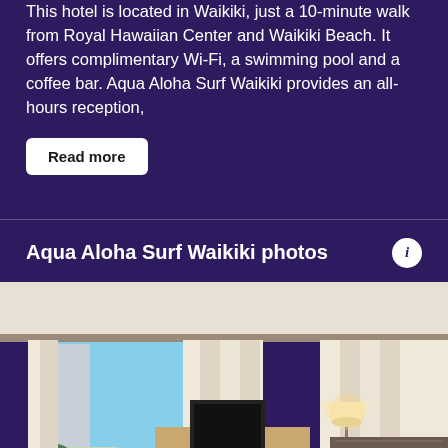This hotel is located in Waikiki, just a 10-minute walk from Royal Hawaiian Center and Waikiki Beach. It offers complimentary Wi-Fi, a swimming pool and a coffee bar. Aqua Aloha Surf Waikiki provides an all-hours reception,
Read more
Aqua Aloha Surf Waikiki photos
[Figure (photo): Interior photo of a hotel room at Aqua Aloha Surf Waikiki showing a bedroom with large windows, cream-colored curtains, a TV on a wooden dresser, a lamp, and a bed with white linens and a dark headboard. City buildings visible through the window.]